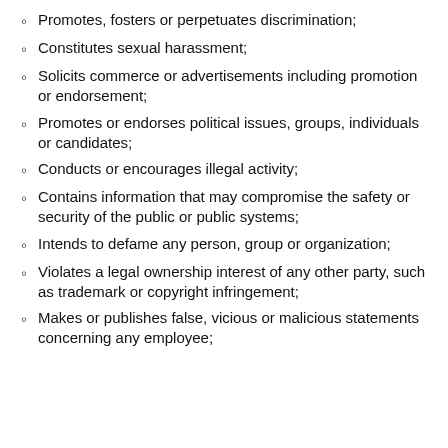Promotes, fosters or perpetuates discrimination;
Constitutes sexual harassment;
Solicits commerce or advertisements including promotion or endorsement;
Promotes or endorses political issues, groups, individuals or candidates;
Conducts or encourages illegal activity;
Contains information that may compromise the safety or security of the public or public systems;
Intends to defame any person, group or organization;
Violates a legal ownership interest of any other party, such as trademark or copyright infringement;
Makes or publishes false, vicious or malicious statements concerning any employee;